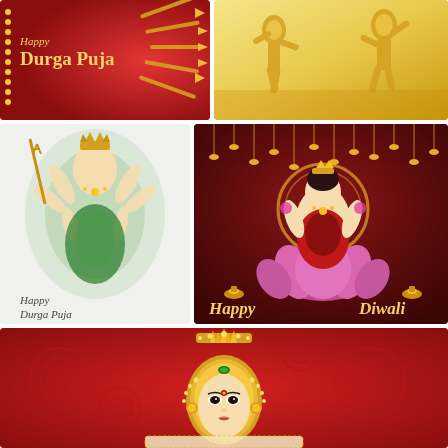[Figure (illustration): Happy Durga Puja greeting card with red background, golden decorative elements, dotted border on left, and text 'Happy Durga Puja' in golden italic font]
[Figure (illustration): Golden illustration of bharatanatyam dancers in golden tones on yellow/gold background]
[Figure (illustration): Watercolor style illustration of Goddess Durga with multiple arms holding weapons, green foliage background, text 'Happy Durga Puja' below]
[Figure (illustration): Happy Diwali greeting card with dark red background, Goddess Lakshmi seated on pink lotus, hanging diyas (oil lamps), 'Happy Diwali' text in golden script]
[Figure (illustration): Large red greeting card with golden Goddess Durga face/idol in center, decorative red background with floral motifs and face outlines, cream colored text box at bottom]